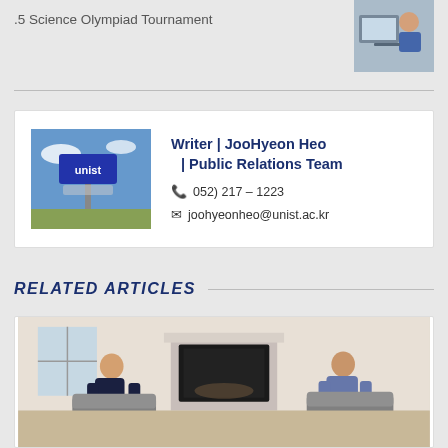.5 Science Olympiad Tournament
[Figure (photo): Photo of a student at a computer, smiling]
[Figure (photo): UNIST sign photo used as author avatar]
Writer | JooHyeon Heo | Public Relations Team
052) 217 – 1223
joohyeonheo@unist.ac.kr
RELATED ARTICLES
[Figure (photo): Two people sitting in chairs in front of a fireplace in a formal room]